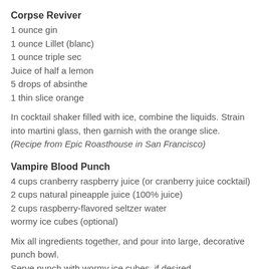Corpse Reviver
1 ounce gin
1 ounce Lillet (blanc)
1 ounce triple sec
Juice of half a lemon
5 drops of absinthe
1 thin slice orange
In cocktail shaker filled with ice, combine the liquids. Strain into martini glass, then garnish with the orange slice. (Recipe from Epic Roasthouse in San Francisco)
Vampire Blood Punch
4 cups cranberry raspberry juice (or cranberry juice cocktail)
2 cups natural pineapple juice (100% juice)
2 cups raspberry-flavored seltzer water
wormy ice cubes (optional)
Mix all ingredients together, and pour into large, decorative punch bowl.
Serve punch with wormy ice cubes, if desired